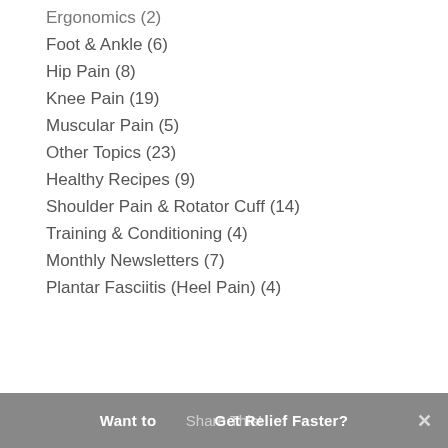Ergonomics (2)
Foot & Ankle (6)
Hip Pain (8)
Knee Pain (19)
Muscular Pain (5)
Other Topics (23)
Healthy Recipes (9)
Shoulder Pain & Rotator Cuff (14)
Training & Conditioning (4)
Monthly Newsletters (7)
Plantar Fasciitis (Heel Pain) (4)
Want to Share This Faster?